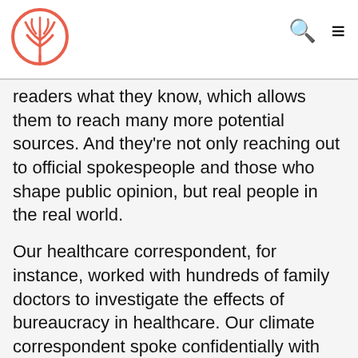[Logo: tree icon] [Search icon] [Menu icon]
readers what they know, which allows them to reach many more potential sources. And they're not only reaching out to official spokespeople and those who shape public opinion, but real people in the real world.
Our healthcare correspondent, for instance, worked with hundreds of family doctors to investigate the effects of bureaucracy in healthcare. Our climate correspondent spoke confidentially with Shell employees about the future of the company. Physicists and battery manufacturers generously provided their thoughts after reading work in progress from our mobility correspondent.
We would like to get a clear picture of which reader knows what, so we can reach out